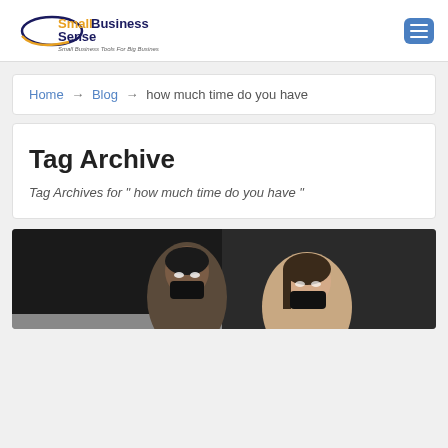[Figure (logo): SmallBusinessSense logo with elliptical swoosh graphic and tagline 'Small Business Tools For Big Business Success']
Home → Blog → how much time do you have
Tag Archive
Tag Archives for " how much time do you have "
[Figure (photo): Two people wearing face masks looking at a computer screen in a dark office setting]